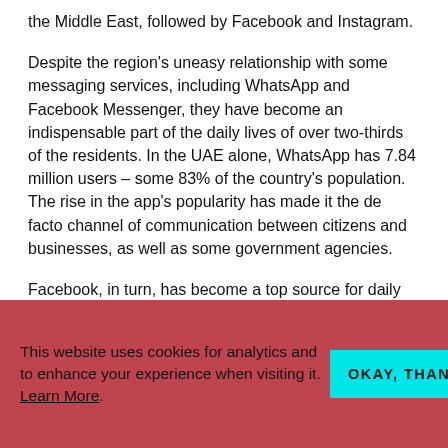the Middle East, followed by Facebook and Instagram.
Despite the region's uneasy relationship with some messaging services, including WhatsApp and Facebook Messenger, they have become an indispensable part of the daily lives of over two-thirds of the residents. In the UAE alone, WhatsApp has 7.84 million users – some 83% of the country's population. The rise in the app's popularity has made it the de facto channel of communication between citizens and businesses, as well as some government agencies.
Facebook, in turn, has become a top source for daily news among young Arabs. According to the Arab Youth
This website uses cookies for analytics and to enhance your experience when visiting it. Learn More.